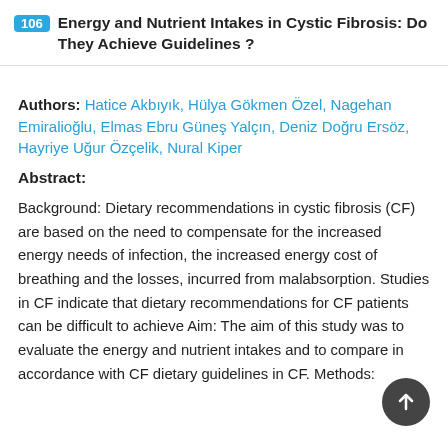106 Energy and Nutrient Intakes in Cystic Fibrosis: Do They Achieve Guidelines ?
Authors: Hatice Akbıyık, Hülya Gökmen Özel, Nagehan Emiralioğlu, Elmas Ebru Güneş Yalçın, Deniz Doğru Ersöz, Hayriye Uğur Özçelik, Nural Kiper
Abstract:
Background: Dietary recommendations in cystic fibrosis (CF) are based on the need to compensate for the increased energy needs of infection, the increased energy cost of breathing and the losses, incurred from malabsorption. Studies in CF indicate that dietary recommendations for CF patients can be difficult to achieve Aim: The aim of this study was to evaluate the energy and nutrient intakes and to compare in accordance with CF dietary guidelines in CF. Methods: